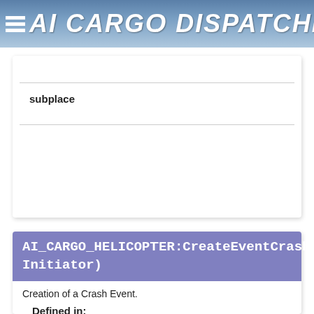AI CARGO DISPATCHING FOR HELICOPTER
subplace
AI_CARGO_HELICOPTER:CreateEventCrash(EventTime Initiator)
Creation of a Crash Event.
Defined in:
Core.Base#BASE
Parameters:
DCS#Time EventTime
The time stamp of the event.